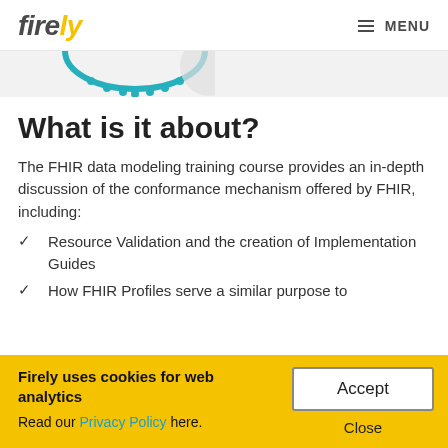firely  ≡ MENU
[Figure (illustration): Partial decorative image showing a teal/blue arc shape at the top of the content area]
What is it about?
The FHIR data modeling training course provides an in-depth discussion of the conformance mechanism offered by FHIR, including:
Resource Validation and the creation of Implementation Guides
How FHIR Profiles serve a similar purpose to
Firely uses cookies for web analytics
Read our Privacy Policy here.
Accept
Close